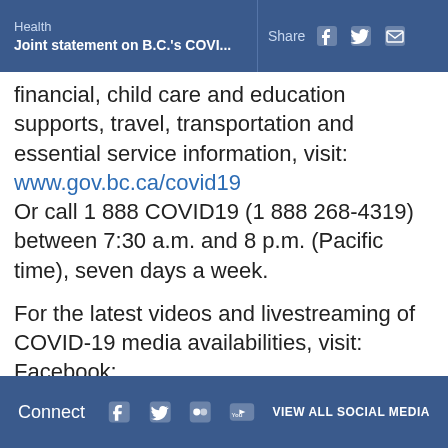Health | Joint statement on B.C.'s COVI... | Share
financial, child care and education supports, travel, transportation and essential service information, visit: www.gov.bc.ca/covid19 Or call 1 888 COVID19 (1 888 268-4319) between 7:30 a.m. and 8 p.m. (Pacific time), seven days a week.
For the latest videos and livestreaming of COVID-19 media availabilities, visit: Facebook: www.facebook.com/BCProvincialGove Twitter: https://twitter.com/BCGovNews YouTube: www.youtube.com/ProvinceofBC
A backgrounder follows.
Connect | VIEW ALL SOCIAL MEDIA